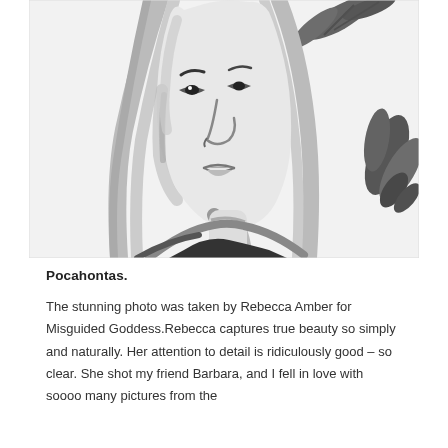[Figure (illustration): Black and white ink illustration of a woman with long straight hair, looking slightly to the side. She has dramatic shading on her face and neck. Behind her head are large dark feathers or plant leaves arranged like a headdress. The style is expressive and painterly, with bold brush strokes.]
Pocahontas.
The stunning photo was taken by Rebecca Amber for Misguided Goddess.Rebecca captures true beauty so simply and naturally. Her attention to detail is ridiculously good – so clear. She shot my friend Barbara, and I fell in love with soooo many pictures from the